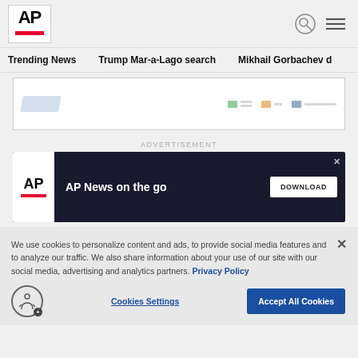AP [logo]
Trending News   Trump Mar-a-Lago search   Mikhail Gorbachev d
[Figure (screenshot): Data widget area with light blue logo mark on the left and colored chip legend items on the right]
ADVERTISEMENT
[Figure (screenshot): AP News on the go advertisement banner with dark background, AP logo, headline text, and white DOWNLOAD button]
We use cookies to personalize content and ads, to provide social media features and to analyze our traffic. We also share information about your use of our site with our social media, advertising and analytics partners. Privacy Policy
Cookies Settings
Accept All Cookies